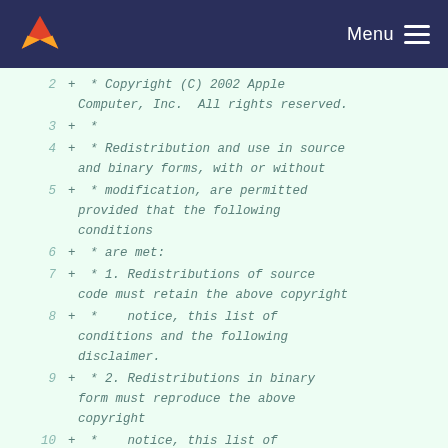Menu
2  +  * Copyright (C) 2002 Apple Computer, Inc.  All rights reserved.
3  +  *
4  +  * Redistribution and use in source and binary forms, with or without
5  +  * modification, are permitted provided that the following conditions
6  +  * are met:
7  +  * 1. Redistributions of source code must retain the above copyright
8  +  *    notice, this list of conditions and the following disclaimer.
9  +  * 2. Redistributions in binary form must reproduce the above copyright
10 +  *    notice, this list of conditions and the following disclaimer in the